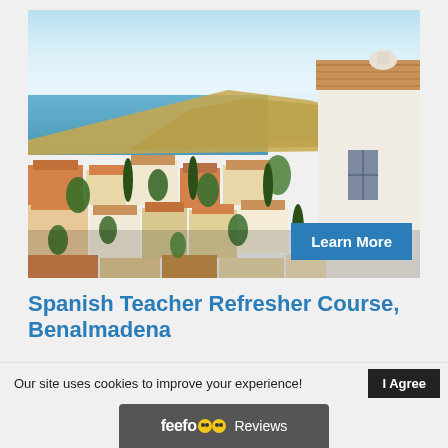[Figure (photo): Aerial/elevated view of a Spanish coastal town with white and terracotta-roofed buildings, lush green trees, Mediterranean sea visible in background under bright blue sky. A white building with tiled roof is prominent on the right. A blue 'Learn More' button overlay appears at bottom right of the image.]
Spanish Teacher Refresher Course, Benalmadena
Our site uses cookies to improve your experience!
I Agree
feefo Reviews